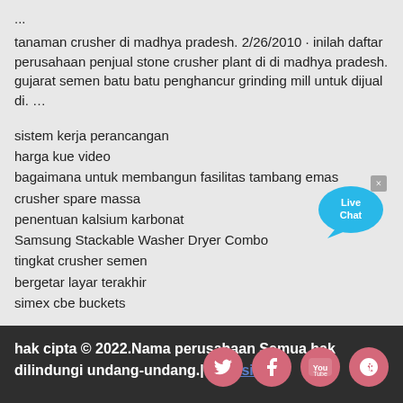... tanaman crusher di madhya pradesh. 2/26/2010 · inilah daftar perusahaan penjual stone crusher plant di di madhya pradesh. gujarat semen batu batu penghancur grinding mill untuk dijual di. …
sistem kerja perancangan
harga kue video
bagaimana untuk membangun fasilitas tambang emas
crusher spare massa
penentuan kalsium karbonat
Samsung Stackable Washer Dryer Combo
tingkat crusher semen
bergetar layar terakhir
simex cbe buckets
[Figure (illustration): Live Chat button with speech bubble icon in blue]
hak cipta © 2022.Nama perusahaan Semua hak dilindungi undang-undang.| peta situs